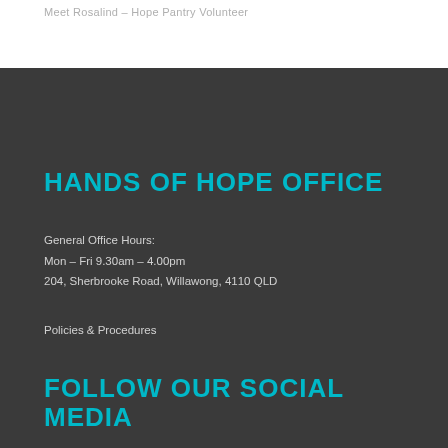Meet Rosalind – Hope Pantry Volunteer
HANDS OF HOPE OFFICE
General Office Hours:
Mon – Fri 9.30am – 4.00pm
204, Sherbrooke Road, Willawong, 4110 QLD
Policies & Procedures
FOLLOW OUR SOCIAL MEDIA
Facebook
Instagram